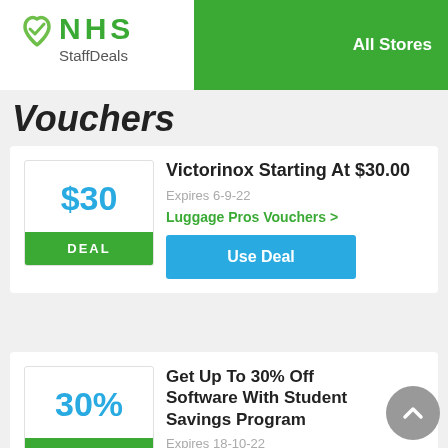[Figure (logo): NHS StaffDeals logo with green heart/checkmark icon and NHS StaffDeals text]
All Stores
Vouchers
Victorinox Starting At $30.00
$30
DEAL
Expires 6-9-22
Luggage Pros Vouchers >
Use Deal
Get Up To 30% Off Software With Student Savings Program
30%
DEAL
Expires 18-10-22